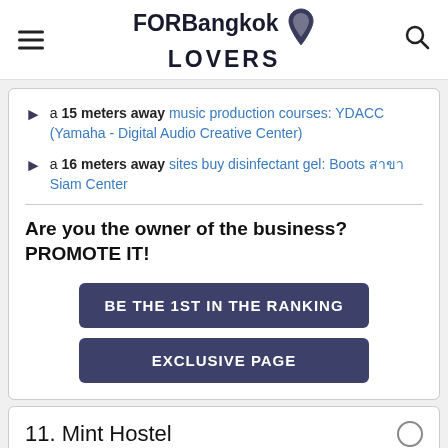FORBangkok LOVERS
a 15 meters away music production courses: YDACC (Yamaha - Digital Audio Creative Center)
a 16 meters away sites buy disinfectant gel: Boots สาขา Siam Center
Are you the owner of the business? PROMOTE IT!
BE THE 1ST IN THE RANKING
EXCLUSIVE PAGE
11. Mint Hostel